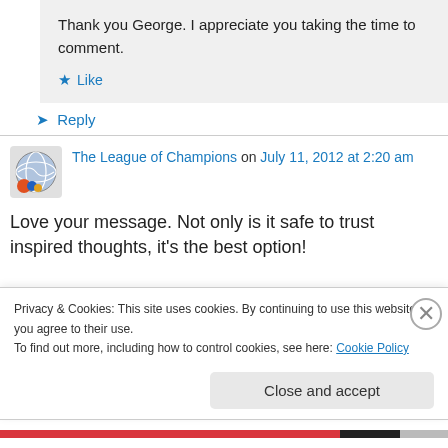Thank you George. I appreciate you taking the time to comment.
Like
Reply
The League of Champions on July 11, 2012 at 2:20 am
Love your message. Not only is it safe to trust inspired thoughts, it's the best option!
Privacy & Cookies: This site uses cookies. By continuing to use this website, you agree to their use.
To find out more, including how to control cookies, see here: Cookie Policy
Close and accept